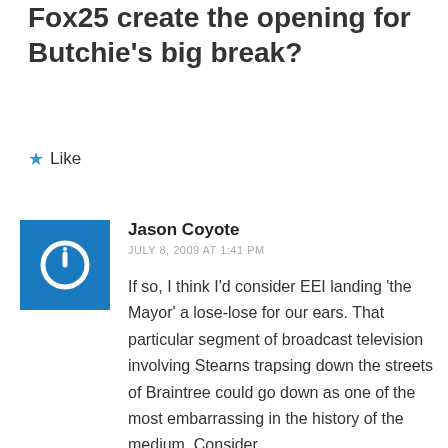Fox25 create the opening for Butchie's big break?
Like
Jason Coyote
JULY 8, 2009 AT 1:41 PM
If so, I think I'd consider EEI landing 'the Mayor' a lose-lose for our ears. That particular segment of broadcast television involving Stearns trapsing down the streets of Braintree could go down as one of the most embarrassing in the history of the medium. Consider